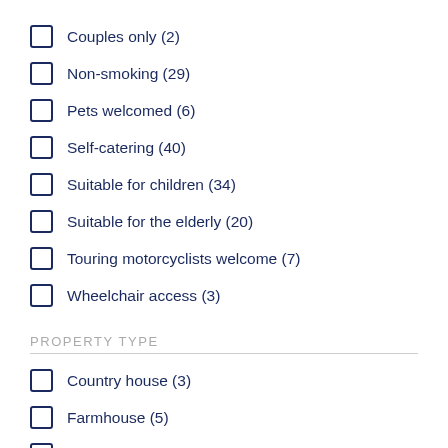Couples only (2)
Non-smoking (29)
Pets welcomed (6)
Self-catering (40)
Suitable for children (34)
Suitable for the elderly (20)
Touring motorcyclists welcome (7)
Wheelchair access (3)
PROPERTY TYPE
Country house (3)
Farmhouse (5)
Gîte (22)
Maison de Maître (1)